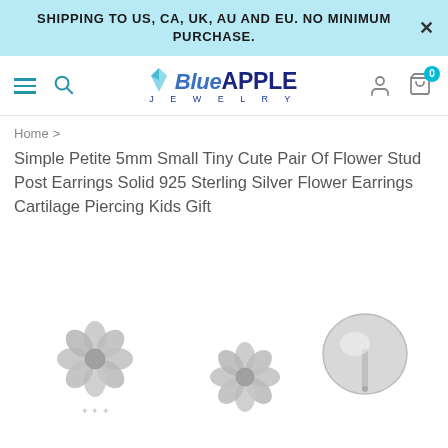SHIPPING TO US, CA, UK, AU AND EU. NO MINIMUM PURCHASE.
[Figure (logo): Blue Apple Jewelry logo with gemstone icon, text reading BlueAPPLE JEWELRY]
Home >
Simple Petite 5mm Small Tiny Cute Pair Of Flower Stud Post Earrings Solid 925 Sterling Silver Flower Earrings Cartilage Piercing Kids Gift
[Figure (photo): Three silver flower stud earrings shown close-up against white background, showing front and side/back views of the small sterling silver flower earrings]